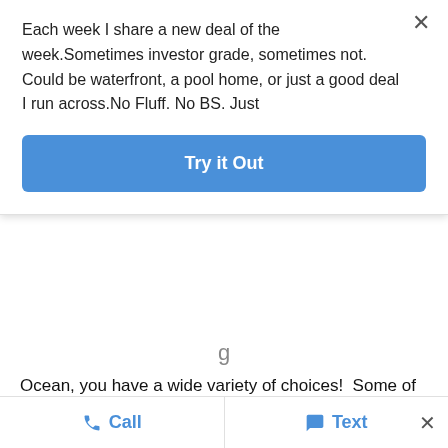Each week I share a new deal of the week.Sometimes investor grade, sometimes not. Could be waterfront, a pool home, or just a good deal I run across.No Fluff. No BS. Just
Try it Out
Ocean, you have a wide variety of choices!  Some of the most popular waterfront choices are here below.  The waterfront homes for sale pages are updated daily with the newest waterfront home listings and properties currently on the market in Jacksonville and Ponte Vedra.
Waterfront real estate is always in demand and
Call   Text